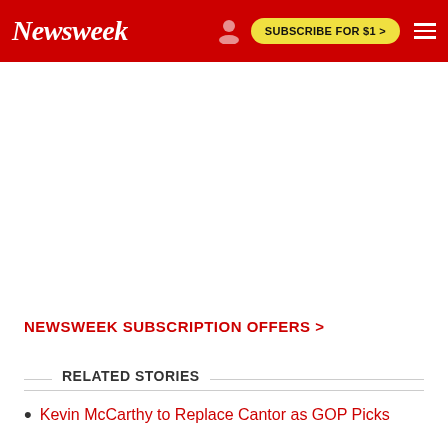Newsweek
SUBSCRIBE FOR $1 >
NEWSWEEK SUBSCRIPTION OFFERS >
RELATED STORIES
Kevin McCarthy to Replace Cantor as GOP Picks